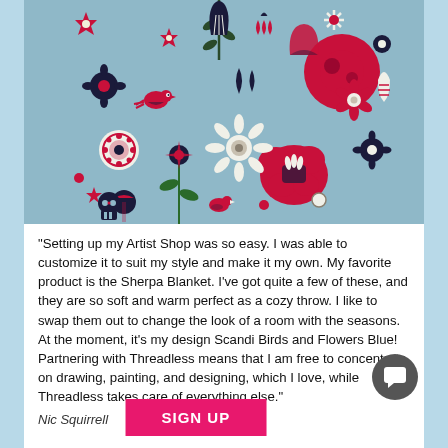[Figure (illustration): Decorative folk-art style floral illustration on a blue-grey background. Features various stylized flowers, birds, and botanical elements in red/pink, dark navy, and cream/white colors arranged in a scattered pattern.]
“Setting up my Artist Shop was so easy. I was able to customize it to suit my style and make it my own. My favorite product is the Sherpa Blanket. I've got quite a few of these, and they are so soft and warm perfect as a cozy throw. I like to swap them out to change the look of a room with the seasons. At the moment, it’s my design Scandi Birds and Flowers Blue! Partnering with Threadless means that I am free to concentrate on drawing, painting, and designing, which I love, while Threadless takes care of everything else.”
Nic Squirrell